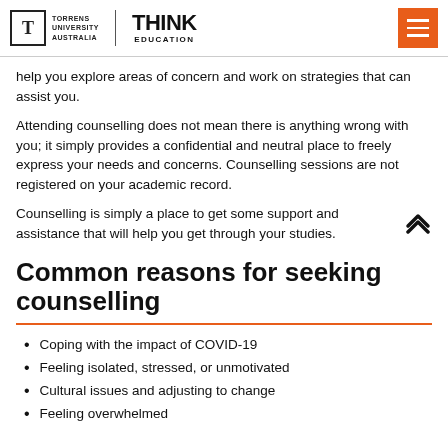Torrens University Australia | Think Education
help you explore areas of concern and work on strategies that can assist you.
Attending counselling does not mean there is anything wrong with you; it simply provides a confidential and neutral place to freely express your needs and concerns. Counselling sessions are not registered on your academic record.
Counselling is simply a place to get some support and assistance that will help you get through your studies.
Common reasons for seeking counselling
Coping with the impact of COVID-19
Feeling isolated, stressed, or unmotivated
Cultural issues and adjusting to change
Feeling overwhelmed